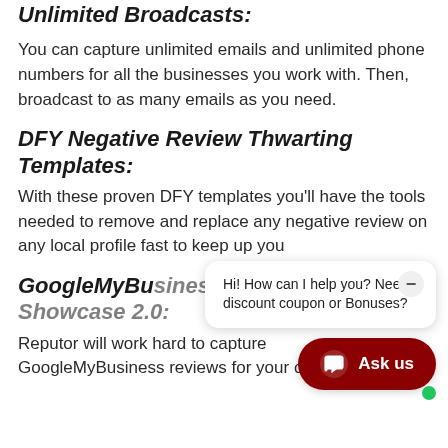Unlimited Broadcasts:
You can capture unlimited emails and unlimited phone numbers for all the businesses you work with. Then, broadcast to as many emails as you need.
DFY Negative Review Thwarting Templates:
With these proven DFY templates you'll have the tools needed to remove and replace any negative review on any local profile fast to keep up you
GoogleMyBusiness Reviews Showcase 2.0:
Reputor will work hard to capture GoogleMyBusiness reviews for your clients.